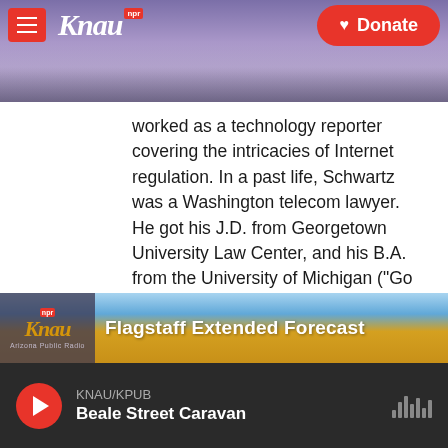[Figure (screenshot): KNAU NPR radio station website header with purple mountain background, hamburger menu, KNAU logo, and red Donate button]
worked as a technology reporter covering the intricacies of Internet regulation. In a past life, Schwartz was a Washington telecom lawyer. He got his J.D. from Georgetown University Law Center, and his B.A. from the University of Michigan ("Go Blue!").
See stories by Matthew S. Schwartz
[Figure (screenshot): KNAU Flagstaff Extended Forecast banner with sky background and KNAU logo]
[Figure (screenshot): Audio player bar showing KNAU/KPUB playing Beale Street Caravan with play button and audio waveform icon]